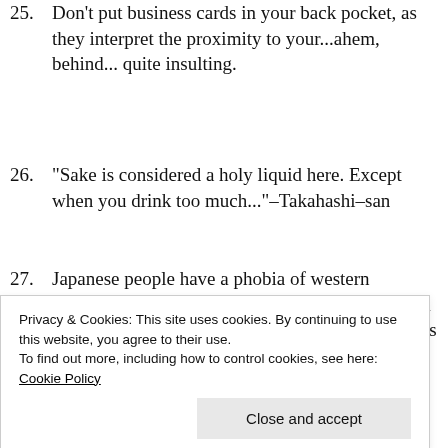25. Don't put business cards in your back pocket, as they interpret the proximity to your...ahem, behind... quite insulting.
26. "Sake is considered a holy liquid here. Except when you drink too much..."-Takahashi-san
27. Japanese people have a phobia of western foreigners speaking English to them (even though most people learn it in school). They'll go so far as to move away from you if you sit next to them on a train. They're afraid their English will be too broken
Privacy & Cookies: This site uses cookies. By continuing to use this website, you agree to their use.
To find out more, including how to control cookies, see here: Cookie Policy
meet halfway 'round the world at the halfway point. They have a tendency to...